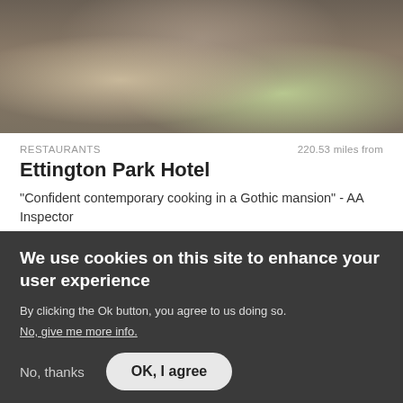[Figure (photo): Outdoor photo showing people from behind walking up steps, with outdoor furniture visible on left and green foliage on right, at what appears to be a hotel or restaurant entrance]
RESTAURANTS   220.53 miles from
Ettington Park Hotel
"Confident contemporary cooking in a Gothic mansion" - AA Inspector
REGION
ALDERMINSTER, WARWICKSHIRE
OFFICIAL RATING   INSPECTED BY
We use cookies on this site to enhance your user experience
By clicking the Ok button, you agree to us doing so.
No, give me more info.
No, thanks
OK, I agree